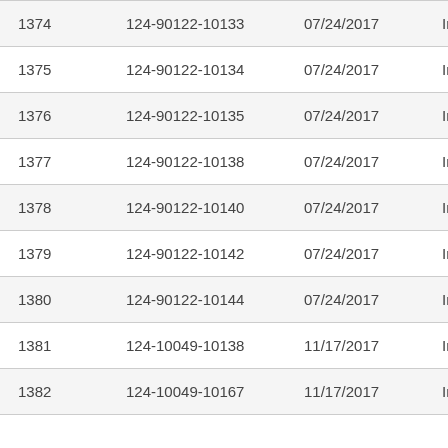| 1374 | 124-90122-10133 | 07/24/2017 | In Pa |
| 1375 | 124-90122-10134 | 07/24/2017 | In Pa |
| 1376 | 124-90122-10135 | 07/24/2017 | In Pa |
| 1377 | 124-90122-10138 | 07/24/2017 | In Pa |
| 1378 | 124-90122-10140 | 07/24/2017 | In Pa |
| 1379 | 124-90122-10142 | 07/24/2017 | In Pa |
| 1380 | 124-90122-10144 | 07/24/2017 | In Pa |
| 1381 | 124-10049-10138 | 11/17/2017 | In Pa |
| 1382 | 124-10049-10167 | 11/17/2017 | In Pa |